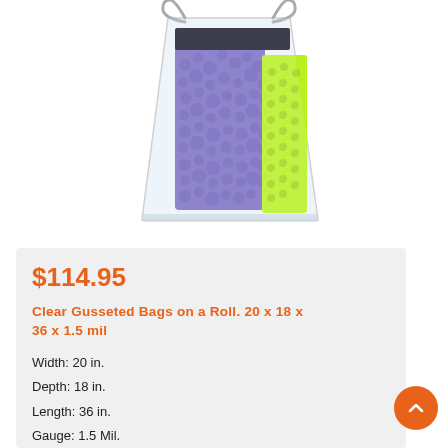[Figure (photo): Clear gusseted plastic bag containing purple and green cleaning mitts/cloths, transparent bag with handles visible at top, photographed on white background]
$114.95
Clear Gusseted Bags on a Roll. 20 x 18 x 36 x 1.5 mil
Width: 20 in.
Depth: 18 in.
Length: 36 in.
Gauge: 1.5 Mil.